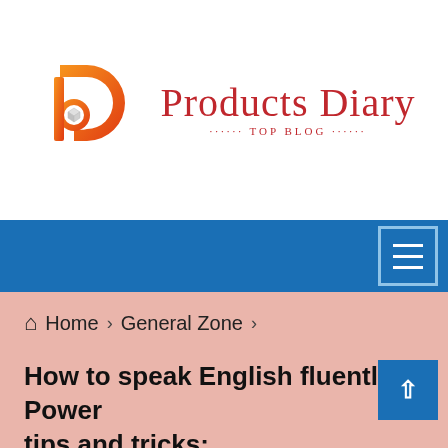[Figure (logo): Products Diary logo with orange-gradient P icon containing a cube, and red serif text 'Products Diary' with subtitle 'TOP BLOG']
[Figure (other): Blue navigation bar with hamburger menu icon button in top-right corner]
🏠 Home > General Zone >
How to speak English fluently: 7 Power tips and tricks: